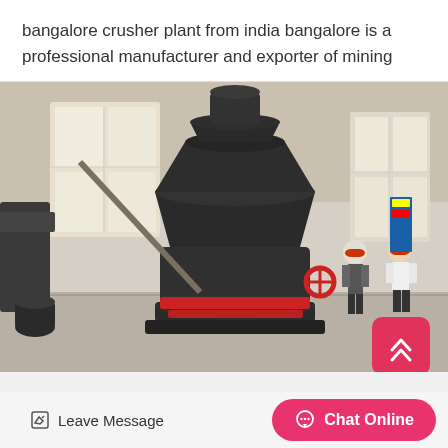bangalore crusher plant from india bangalore is a professional manufacturer and exporter of mining
[Figure (photo): Industrial mining crusher/grinding mill machine in a factory workshop, with two workers in red hard hats standing nearby inspecting the large dark-colored machinery. The machine has a funnel-top design with a red band around its middle section. The factory has large windows and concrete floors.]
Leave Message
Chat Online